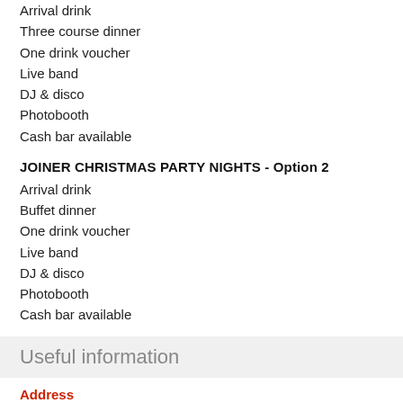Arrival drink
Three course dinner
One drink voucher
Live band
DJ & disco
Photobooth
Cash bar available
JOINER CHRISTMAS PARTY NIGHTS - Option 2
Arrival drink
Buffet dinner
One drink voucher
Live band
DJ & disco
Photobooth
Cash bar available
Useful information
Address
Holiday Inn London
Brentford Lock